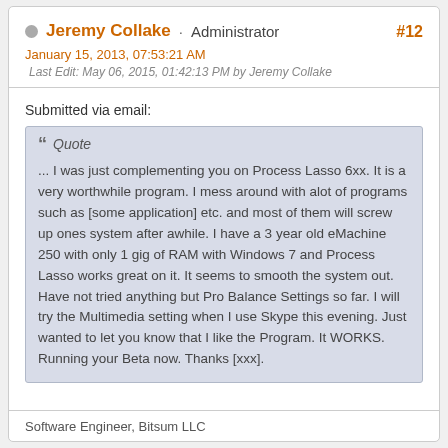Jeremy Collake · Administrator
January 15, 2013, 07:53:21 AM
Last Edit: May 06, 2015, 01:42:13 PM by Jeremy Collake
#12
Submitted via email:
" Quote
... I was just complementing you on Process Lasso 6xx. It is a very worthwhile program. I mess around with alot of programs such as [some application] etc. and most of them will screw up ones system after awhile. I have a 3 year old eMachine 250 with only 1 gig of RAM with Windows 7 and Process Lasso works great on it. It seems to smooth the system out. Have not tried anything but Pro Balance Settings so far. I will try the Multimedia setting when I use Skype this evening. Just wanted to let you know that I like the Program. It WORKS. Running your Beta now. Thanks [xxx].
Software Engineer, Bitsum LLC